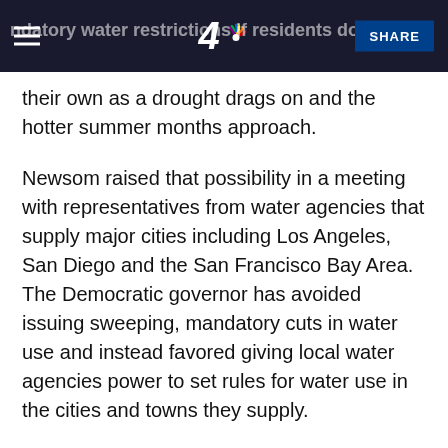mandatory water restrictions if residents don't use [NBC 4 logo] SHARE
their own as a drought drags on and the hotter summer months approach.
Newsom raised that possibility in a meeting with representatives from water agencies that supply major cities including Los Angeles, San Diego and the San Francisco Bay Area. The Democratic governor has avoided issuing sweeping, mandatory cuts in water use and instead favored giving local water agencies power to set rules for water use in the cities and towns they supply.
January through March typically is when most of California's annual rain and snow falls, but this year those months were the driest in at least a century.Despite calls for conservation, the state's water use went up dramatically in March — 19%